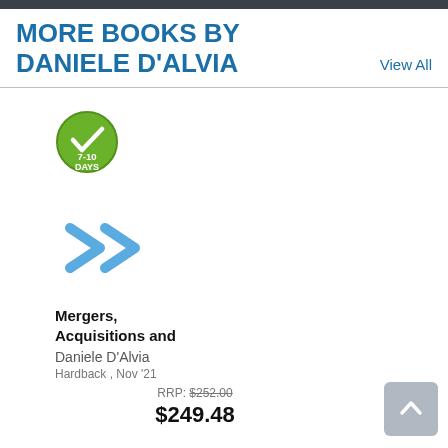MORE BOOKS BY DANIELE D'ALVIA
View All
[Figure (illustration): Green circular badge with a white checkmark and text '7-10 DAYS']
[Figure (illustration): Two blue right-pointing chevron arrows (>>) indicating navigation]
Mergers, Acquisitions and
Daniele D'Alvia
Hardback , Nov '21
RRP: $252.00
$249.48